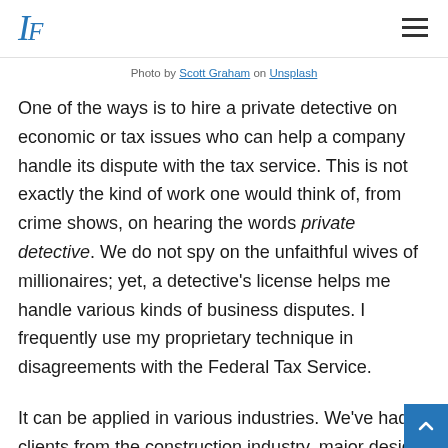IF
Photo by Scott Graham on Unsplash
One of the ways is to hire a private detective on economic or tax issues who can help a company handle its dispute with the tax service. This is not exactly the kind of work one would think of, from crime shows, on hearing the words private detective. We do not spy on the unfaithful wives of millionaires; yet, a detective’s license helps me handle various kinds of business disputes. I frequently use my proprietary technique in disagreements with the Federal Tax Service.
It can be applied in various industries. We’ve had clients from the construction industry, major design and construction companies, as well as large manufacturers